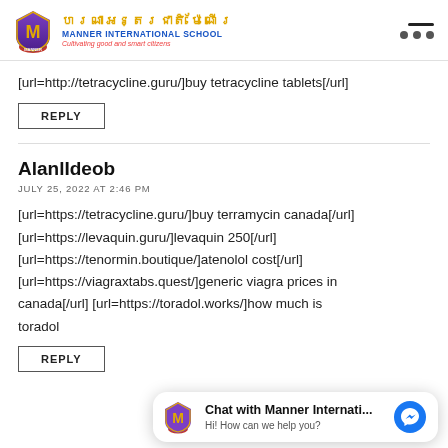[Figure (logo): Manner International School logo with shield emblem, Khmer text, and tagline 'Cultivating good and smart citizens']
[url=http://tetracycline.guru/]buy tetracycline tablets[/url]
REPLY
AlanlIdeob
JULY 25, 2022 AT 2:46 PM
[url=https://tetracycline.guru/]buy terramycin canada[/url] [url=https://levaquin.guru/]levaquin 250[/url] [url=https://tenormin.boutique/]atenolol cost[/url] [url=https://viagraxtabs.quest/]generic viagra prices in canada[/url] [url=https://toradol.works/]how much is toradol
REPLY
[Figure (screenshot): Chat widget: Chat with Manner Internati... Hi! How can we help you?]